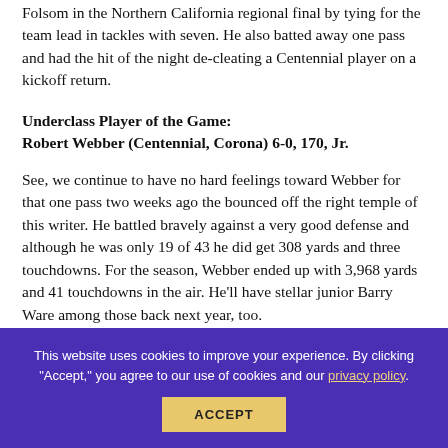Folsom in the Northern California regional final by tying for the team lead in tackles with seven. He also batted away one pass and had the hit of the night de-cleating a Centennial player on a kickoff return.
Underclass Player of the Game:
Robert Webber (Centennial, Corona) 6-0, 170, Jr.
See, we continue to have no hard feelings toward Webber for that one pass two weeks ago the bounced off the right temple of this writer. He battled bravely against a very good defense and although he was only 19 of 43 he did get 308 yards and three touchdowns. For the season, Webber ended up with 3,968 yards and 41 touchdowns in the air. He'll have stellar junior Barry Ware among those back next year, too.
This website uses cookies to improve your experience. By clicking "Accept," you agree to our use of cookies and our privacy policy.